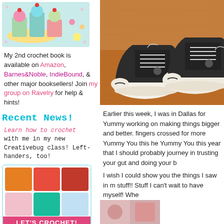[Figure (photo): Crocheted food items - banana split sundaes on colorful textured background]
My 2nd crochet book is available on Amazon, Barnes&Noble, IndieBound, & other major booksellers! Join my group on Ravelry for help & hints!
Recent News!
Learn how to crochet with me in my new Creativebug class! Left-handers, too!
[Figure (photo): Colorful crochet swatches in various colors with LET'S CROCHET! banner]
[Figure (photo): Converse-style sneakers on wooden floor]
Earlier this week, I was in Dallas for Yummy working on making things bigger and better. fingers crossed for more Yummy You this he Yummy You this year that I should probably journey in trusting your gut and doing your b
I wish I could show you the things I saw in m stuff!! Stuff I can't wait to have myself! Whe
[Figure (photo): Partial photo visible at bottom right]